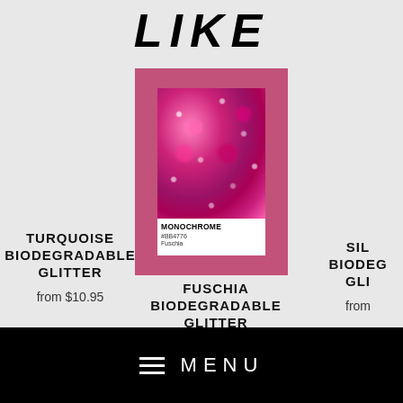LIKE
[Figure (photo): Pantone-style color swatch card showing pink/fuschia glitter with label MONOCHROME, #BB4776, Fuschia, displayed on a pink background]
FUSCHIA BIODEGRADABLE GLITTER
from $10.95
TURQUOISE BIODEGRADABLE GLITTER
from $10.95
SILV BIODEG GLI
from
MENU